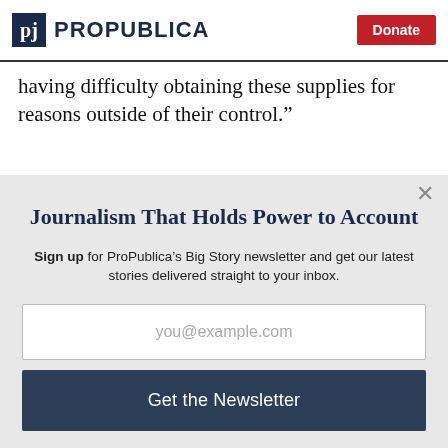ProPublica | Donate
having difficulty obtaining these supplies for reasons outside of their control.”
Journalism That Holds Power to Account
Sign up for ProPublica’s Big Story newsletter and get our latest stories delivered straight to your inbox.
you@example.com
Get the Newsletter
No thanks, I’m all set
This site is protected by reCAPTCHA and the Google Privacy Policy and Terms of Service apply.